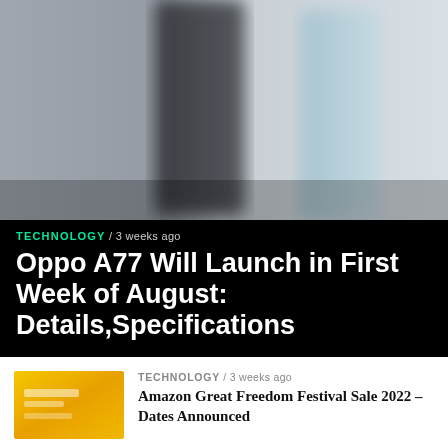[Figure (photo): Blurred close-up photo of smartphones standing upright, showing dark and light colored devices against a light grey background]
TECHNOLOGY / 3 weeks ago
Oppo A77 Will Launch in First Week of August: Details,Specifications
[Figure (photo): Small thumbnail image with yellow/orange tones, likely showing a product or sale-related image]
TECHNOLOGY / 3 weeks ago
Amazon Great Freedom Festival Sale 2022 – Dates Announced